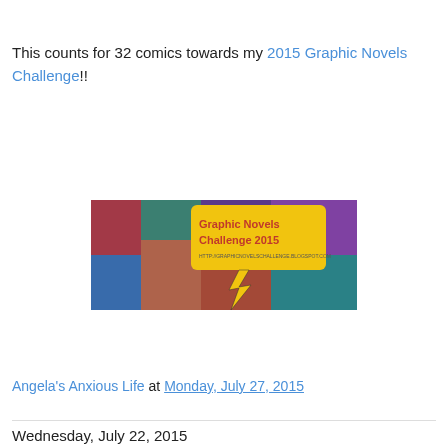This counts for 32 comics towards my 2015 Graphic Novels Challenge!!
[Figure (illustration): Banner image for Graphic Novels Challenge 2015 — collage of comic book covers with a yellow speech bubble reading 'Graphic Novels Challenge 2015' in red text and a lightning bolt below it.]
Angela's Anxious Life at Monday, July 27, 2015
Wednesday, July 22, 2015